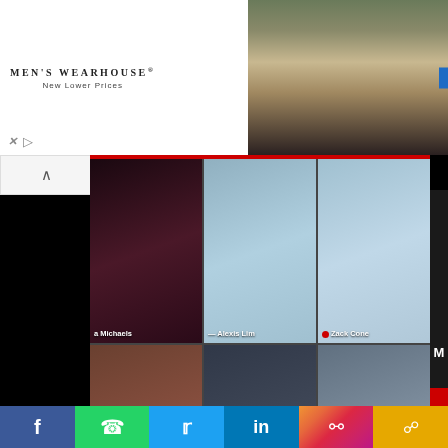[Figure (photo): Men's Wearhouse advertisement banner with couple in wedding attire and man in suit, with INFO button]
[Figure (screenshot): Google Meet video call screenshot showing 6 participants in grid view: a Michaels, Alexis Lim, Zack Cone, and three others. Badge showing '2 min read']
Users will be able to designate up to 25 co-hosts, limit screen sharing, and more using Google Meet
1 year ago  Shadiya Zubair
[Figure (infographic): Social share bar with Facebook, WhatsApp, Twitter, LinkedIn, Instagram, and share link icons]